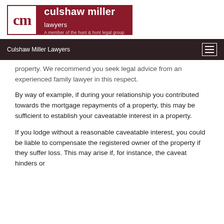[Figure (logo): Culshaw Miller Lawyers logo — red and white box with 'cm' monogram, firm name, and 'A member of the hunt & hunt legal group' tagline]
Culshaw Miller Lawyers
property. We recommend you seek legal advice from an experienced family lawyer in this respect.
By way of example, if during your relationship you contributed towards the mortgage repayments of a property, this may be sufficient to establish your caveatable interest in a property.
If you lodge without a reasonable caveatable interest, you could be liable to compensate the registered owner of the property if they suffer loss. This may arise if, for instance, the caveat hinders or